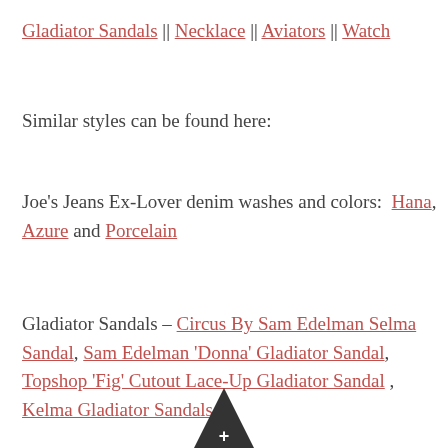Gladiator Sandals || Necklace || Aviators || Watch
Similar styles can be found here:
Joe's Jeans Ex-Lover denim washes and colors: Hana, Azure and Porcelain
Gladiator Sandals – Circus By Sam Edelman Selma Sandal, Sam Edelman 'Donna' Gladiator Sandal, Topshop 'Fig' Cutout Lace-Up Gladiator Sandal , Kelma Gladiator Sandals
July 17, 2015 · Tagged Aviators, Gladiators, Gorjana, Jean Shorts, Joe's Jeans, Michael Kors, shorts · 5 Comments